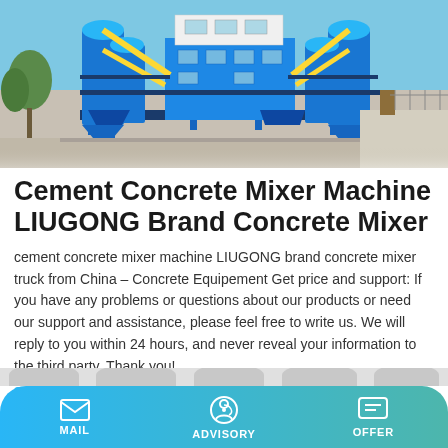[Figure (photo): Industrial concrete batching plant with blue silos, yellow diagonal conveyor arms, blue steel frame structure, and white administrative building, set on a concrete pad outdoors.]
Cement Concrete Mixer Machine LIUGONG Brand Concrete Mixer
cement concrete mixer machine LIUGONG brand concrete mixer truck from China – Concrete Equipement Get price and support: If you have any problems or questions about our products or need our support and assistance, please feel free to write us. We will reply to you within 24 hours, and never reveal your information to the third party. Thank you!
Learn More
MAIL   ADVISORY   OFFER